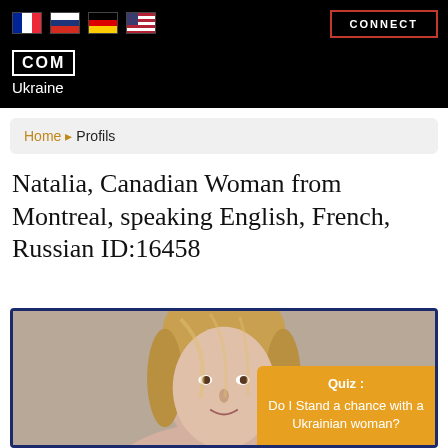CONNECT
[Figure (logo): COM Ukraine logo with flags (French, Russian, German, US) in black header bar]
Home > Profils
Natalia, Canadian Woman from Montreal, speaking English, French, Russian ID:16458
[Figure (photo): Photo of a blonde woman (Natalia) with a Quiz widget overlay reading: Quiz : Do I Stand a chance with a Ukrainian woman?]